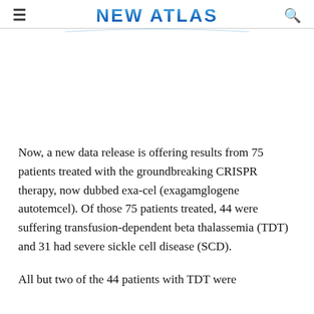NEW ATLAS
Now, a new data release is offering results from 75 patients treated with the groundbreaking CRISPR therapy, now dubbed exa-cel (exagamglogene autotemcel). Of those 75 patients treated, 44 were suffering transfusion-dependent beta thalassemia (TDT) and 31 had severe sickle cell disease (SCD).
All but two of the 44 patients with TDT were